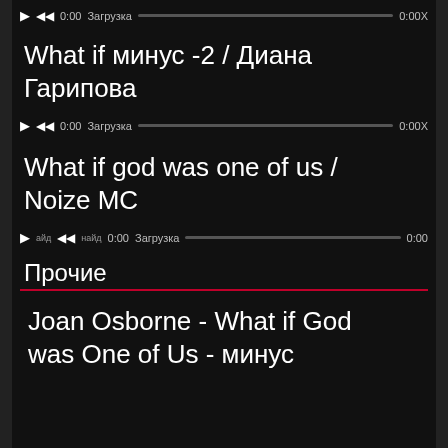[Figure (screenshot): Audio player bar with play button, rewind button, time 0:00, Загрузка progress bar, and 0:00X end time]
What if минус -2 / Диана Гарипова
[Figure (screenshot): Audio player bar with play button, rewind button, time 0:00, Загрузка progress bar, and 0:00X end time]
What if god was one of us / Noize MC
[Figure (screenshot): Audio player bar with play/rewind buttons, time 0:00, Загрузка progress bar, and 0:00 end time]
Прочие
Joan Osborne - What if God was One of Us - минус